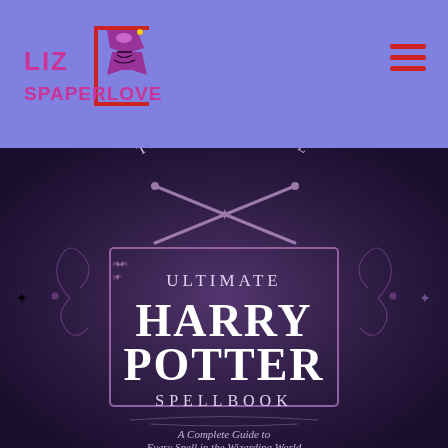LizSpaperlove — website header with logo and navigation
[Figure (photo): Book cover of 'The Unofficial Ultimate Harry Potter Spellbook: A Complete Guide to Every Spell in the Wizarding World' — dark purple/black background with ornate decorative borders, crossed wands at top, large white text reading HARRY POTTER center, with ULTIMATE above and SPELLBOOK below in smaller text, arched text reading THE UNOFFICIAL at top and subtitle at bottom.]